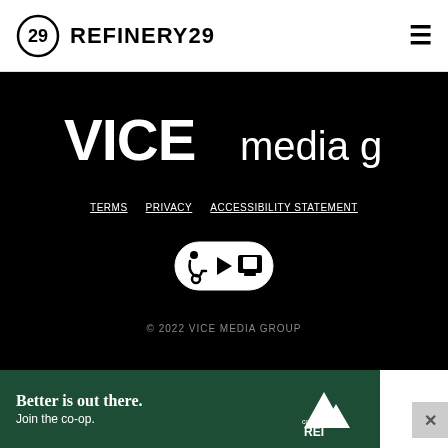REFINERY29
[Figure (logo): VICE media group logo in white on black background]
TERMS   PRIVACY   ACCESSIBILITY STATEMENT
[Figure (logo): Accessibility icon badge with wheelchair, play, and screen reader symbols]
© 2022 VICE MEDIA GROUP
[Figure (infographic): REI co-op advertisement banner: Better is out there. Join the co-op. with REI logo on dark green background]